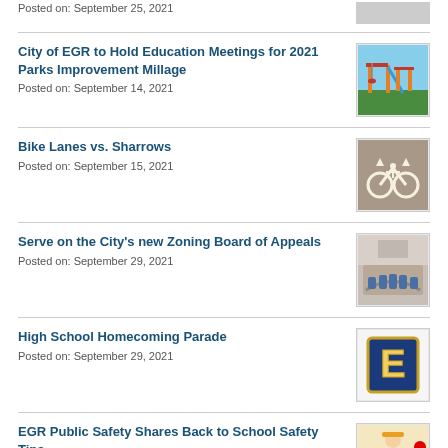Posted on: September 25, 2021
City of EGR to Hold Education Meetings for 2021 Parks Improvement Millage
Posted on: September 14, 2021
[Figure (photo): Playground equipment outdoors]
Bike Lanes vs. Sharrows
Posted on: September 15, 2021
[Figure (photo): Bicycle marking on pavement]
Serve on the City's new Zoning Board of Appeals
Posted on: September 29, 2021
[Figure (photo): Council chamber seats]
High School Homecoming Parade
Posted on: September 29, 2021
[Figure (illustration): Letter E school logo in navy and gold]
EGR Public Safety Shares Back to School Safety Tips
Posted on: August 20, 2020
[Figure (illustration): Safety officer with red ball illustration]